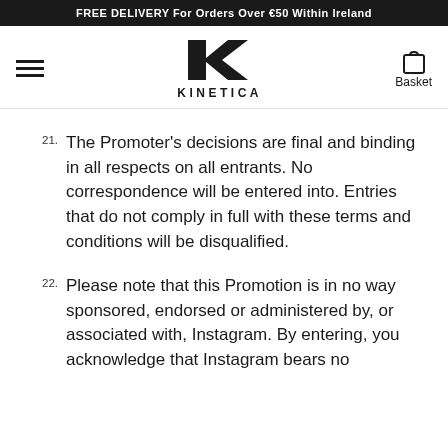FREE DELIVERY For Orders Over €50 Within Ireland
[Figure (logo): Kinetica brand logo with stylized K and KINETICA text]
21. The Promoter's decisions are final and binding in all respects on all entrants. No correspondence will be entered into. Entries that do not comply in full with these terms and conditions will be disqualified.
22. Please note that this Promotion is in no way sponsored, endorsed or administered by, or associated with, Instagram. By entering, you acknowledge that Instagram bears no